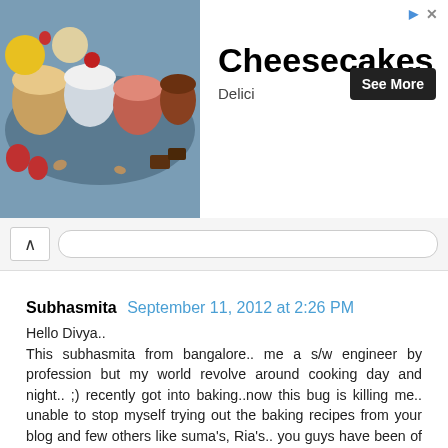[Figure (photo): Advertisement banner for Cheesecakes by Delici, showing food photo on left with desserts in jars, title 'Cheesecakes', subtitle 'Delici', and 'See More' button]
Subhasmita  September 11, 2012 at 2:26 PM

Hello Divya..
This subhasmita from bangalore.. me a s/w engineer by profession but my world revolve around cooking day and night.. ;) recently got into baking..now this bug is killing me.. unable to stop myself trying out the baking recipes from your blog and few others like suma's, Ria's.. you guys have been of great help to me..
While going through your blog i came across an article on Microwave Baking.. Actually i have a samsung m/w with convection mode and i use the same for baking..had few disasters in the beginning but know i am quite comfortable in baking a cake... but still have few quires it would be of great help if you can give your expert opinion...